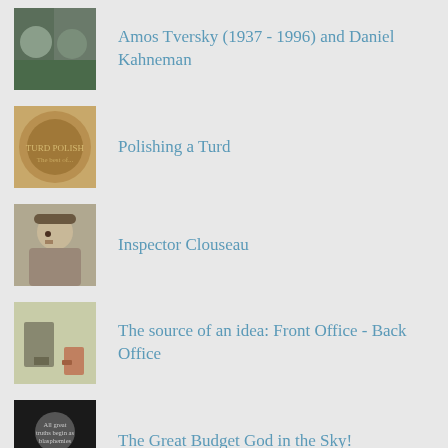Amos Tversky (1937 - 1996) and Daniel Kahneman
Polishing a Turd
Inspector Clouseau
The source of an idea: Front Office - Back Office
The Great Budget God in the Sky!
Jim Womack and Dan Jones
RECENT POSTS
Reflecting on reflection
The ‘Spaghetti notes’ phenomenon